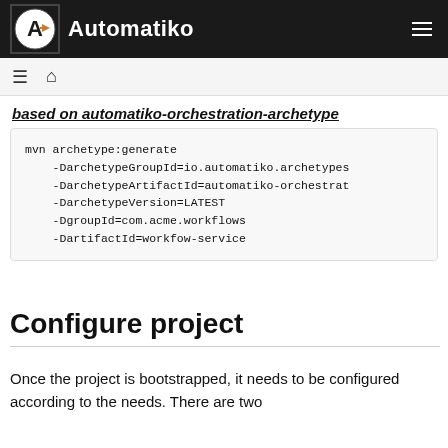Automatiko
based on automatiko-orchestration-archetype
mvn archetype:generate
    -DarchetypeGroupId=io.automatiko.archetypes
    -DarchetypeArtifactId=automatiko-orchestrat
    -DarchetypeVersion=LATEST
    -DgroupId=com.acme.workflows
    -DartifactId=workfow-service
Configure project
Once the project is bootstrapped, it needs to be configured according to the needs. There are two